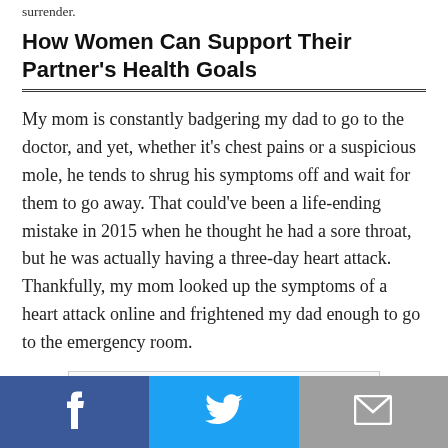surrender.
How Women Can Support Their Partner’s Health Goals
My mom is constantly badgering my dad to go to the doctor, and yet, whether it’s chest pains or a suspicious mole, he tends to shrug his symptoms off and wait for them to go away. That could’ve been a life-ending mistake in 2015 when he thought he had a sore throat, but he was actually having a three-day heart attack. Thankfully, my mom looked up the symptoms of a heart attack online and frightened my dad enough to go to the emergency room.
[Figure (photo): Image placeholder at bottom of article]
Social sharing bar with Facebook, Twitter, and Email buttons